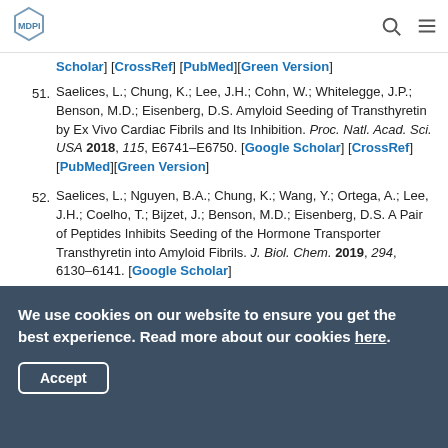MDPI
[Scholar] [CrossRef] [PubMed][Green Version]
51. Saelices, L.; Chung, K.; Lee, J.H.; Cohn, W.; Whitelegge, J.P.; Benson, M.D.; Eisenberg, D.S. Amyloid Seeding of Transthyretin by Ex Vivo Cardiac Fibrils and Its Inhibition. Proc. Natl. Acad. Sci. USA 2018, 115, E6741–E6750. [Google Scholar] [CrossRef] [PubMed][Green Version]
52. Saelices, L.; Nguyen, B.A.; Chung, K.; Wang, Y.; Ortega, A.; Lee, J.H.; Coelho, T.; Bijzet, J.; Benson, M.D.; Eisenberg, D.S. A Pair of Peptides Inhibits Seeding of the Hormone Transporter Transthyretin into Amyloid Fibrils. J. Biol. Chem. 2019, 294, 6130–6141. [Google Scholar]
We use cookies on our website to ensure you get the best experience. Read more about our cookies here.
Accept